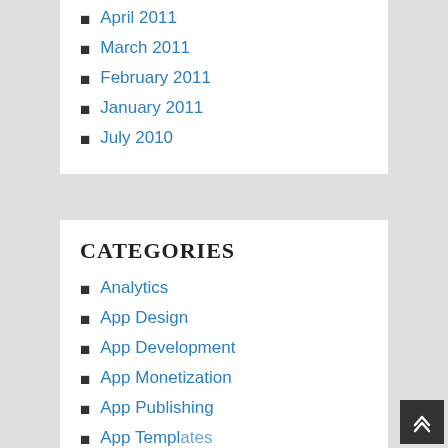April 2011
March 2011
February 2011
January 2011
July 2010
CATEGORIES
Analytics
App Design
App Development
App Monetization
App Publishing
App Templates